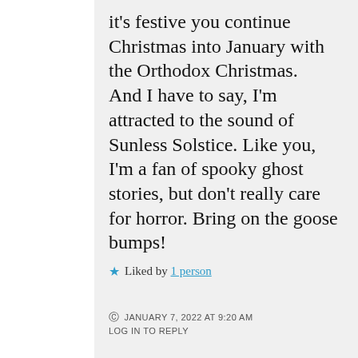it's festive you continue Christmas into January with the Orthodox Christmas. And I have to say, I'm attracted to the sound of Sunless Solstice. Like you, I'm a fan of spooky ghost stories, but don't really care for horror. Bring on the goose bumps!
★ Liked by 1 person
JANUARY 7, 2022 AT 9:20 AM LOG IN TO REPLY